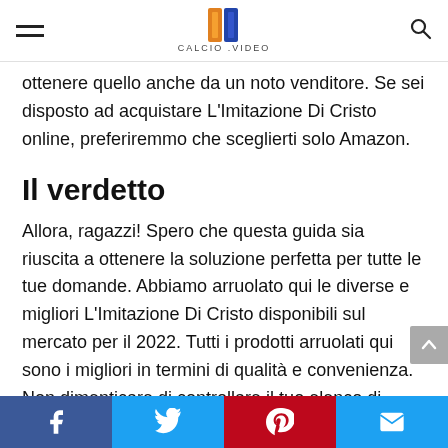CALCIO.VIDEO
ottenere quello anche da un noto venditore. Se sei disposto ad acquistare L'Imitazione Di Cristo online, preferiremmo che sceglierti solo Amazon.
Il verdetto
Allora, ragazzi! Spero che questa guida sia riuscita a ottenere la soluzione perfetta per tutte le tue domande. Abbiamo arruolato qui le diverse e migliori L'Imitazione Di Cristo disponibili sul mercato per il 2022. Tutti i prodotti arruolati qui sono i migliori in termini di qualità e convenienza. Non dimenticare di controllare il tuo elenco di